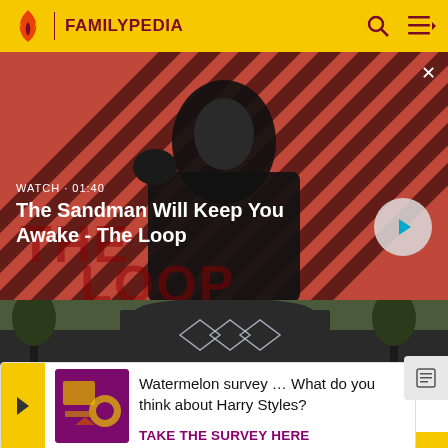FAMILYPEDIA
[Figure (screenshot): Video thumbnail showing a dark figure dressed in black with a raven on shoulder against a red and black diagonal striped background. Text overlay: WATCH • 01:40 / The Sandman Will Keep You Awake - The Loop. Play button visible bottom right.]
WATCH • 01:40
The Sandman Will Keep You Awake - The Loop
[Figure (photo): Photo strip showing a gravestone or memorial with decorative elements including diamond kite shapes]
Watermelon survey … What do you think about Harry Styles?
TAKE THE SURVEY HERE